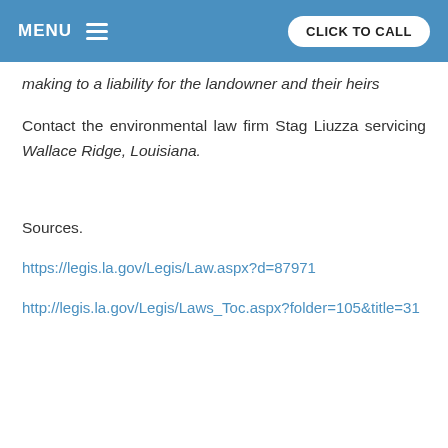MENU   CLICK TO CALL
making to a liability for the landowner and their heirs
Contact the environmental law firm Stag Liuzza servicing Wallace Ridge, Louisiana.
Sources.
https://legis.la.gov/Legis/Law.aspx?d=87971
http://legis.la.gov/Legis/Laws_Toc.aspx?folder=105&title=31